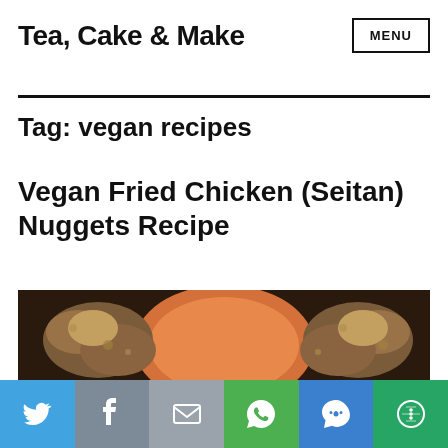Tea, Cake & Make
Tag: vegan recipes
Vegan Fried Chicken (Seitan) Nuggets Recipe
[Figure (photo): Partial photo of vegan fried chicken nuggets on a plate with orange dipping sauce]
[Figure (infographic): Social sharing bar with Twitter, Facebook, Email, WhatsApp, SMS, and More buttons]